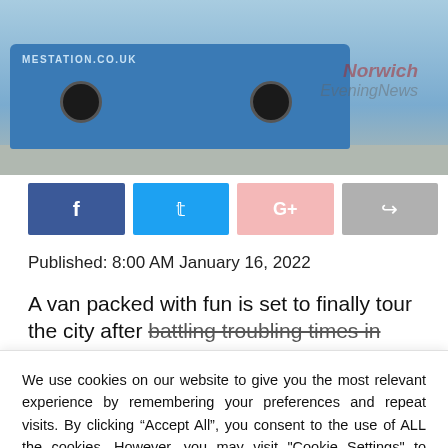[Figure (photo): A blue branded van/bus on a road, with Norwich Evening News watermark overlay]
[Figure (infographic): Social sharing buttons: Facebook (blue), Twitter (light blue), Google+ (pink), Share (grey)]
Published: 8:00 AM January 16, 2022
A van packed with fun is set to finally tour the city after battling troubling times in lockdown.
We use cookies on our website to give you the most relevant experience by remembering your preferences and repeat visits. By clicking “Accept All”, you consent to the use of ALL the cookies. However, you may visit "Cookie Settings" to provide a controlled consent.